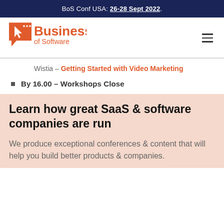BoS Conf USA: 26-28 Sept 2022.
[Figure (logo): Business of Software logo — orange speech-bubble icon with cursor arrow, 'Business' in orange bold text, 'of Software' in smaller orange text below]
Wistia – Getting Started with Video Marketing
By 16.00 – Workshops Close
Learn how great SaaS & software companies are run
We produce exceptional conferences & content that will help you build better products & companies.